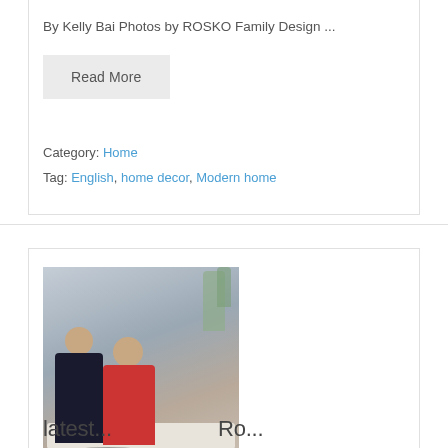By Kelly Bai Photos by ROSKO Family Design ...
Read More
Category: Home
Tag: English, home decor, Modern home
[Figure (photo): Two people (a man in dark clothing and a woman in a red dress) sitting on a white sofa in a modern interior design setting with a glass coffee table, decorative items, and plants in the background.]
latest...design Ro...